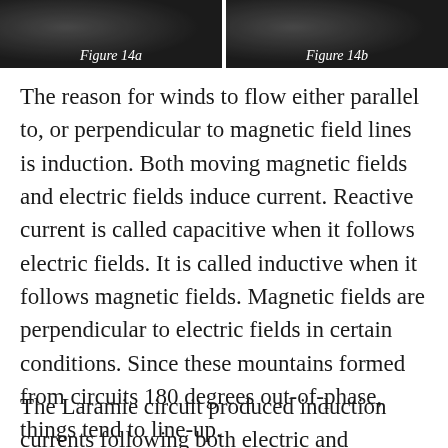[Figure (photo): Figure 14a - dark rocky terrain or mountain landscape photograph]
Figure 14a
[Figure (photo): Figure 14b - dark rocky terrain or mountain landscape photograph]
Figure 14b
The reason for winds to flow either parallel to, or perpendicular to magnetic field lines is induction. Both moving magnetic fields and electric fields induce current. Reactive current is called capacitive when it follows electric fields. It is called inductive when it follows magnetic fields. Magnetic fields are perpendicular to electric fields in certain conditions. Since these mountains formed from circuits 180 degrees out-of-phase, things tend to line-up.
The Laramie circuit produced induction currents following both electric and magnetic